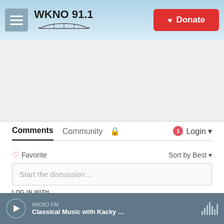[Figure (screenshot): WKNO 91.1 radio station website header with hamburger menu, logo with bridge illustration, and red Donate button]
[Figure (other): Advertisement/banner area (light gray placeholder)]
Comments  Community  🔒  1  Login
♡ Favorite   Sort by Best
Start the discussion...
LOG IN WITH
[Figure (other): Social login icons: Disqus (blue), Facebook (dark blue), Twitter (light blue), Google (red)]
OR SIGN UP WITH DISQUS ?
[Figure (other): Audio player bar at bottom: play button, WKNO FM station name, Classical Music with Kacky ... title, waveform icon]